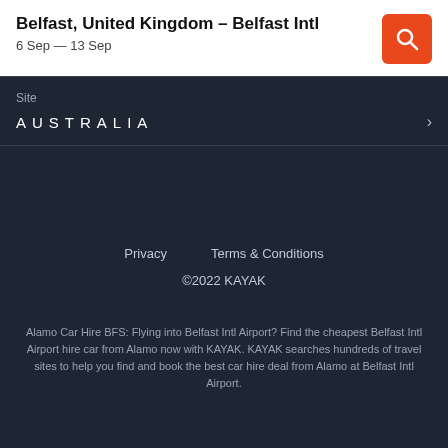Belfast, United Kingdom – Belfast Intl
6 Sep — 13 Sep
Site
AUSTRALIA
Privacy    Terms & Conditions
©2022 KAYAK
Alamo Car Hire BFS: Flying into Belfast Intl Airport? Find the cheapest Belfast Intl Airport hire car from Alamo now with KAYAK. KAYAK searches hundreds of travel sites to help you find and book the best car hire deal from Alamo at Belfast Intl Airport.